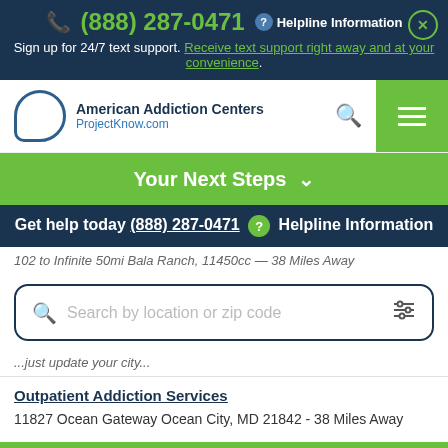(888) 287-0471  Helpline Information
Sign up for 24/7 text support. Receive text support right away and at your convenience.
[Figure (logo): American Addiction Centers - ProjectKnow.com logo with speech bubble icon]
Your Next Steps
Get help today (888) 287-0471  Helpline Information
Search by location or zip code
Outpatient Addiction Services
11827 Ocean Gateway Ocean City, MD 21842 - 38 Miles Away
Your Next Steps